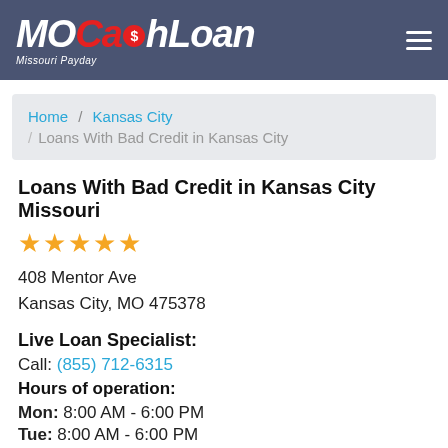MOCa$hLoan Missouri Payday
Home / Kansas City / Loans With Bad Credit in Kansas City
Loans With Bad Credit in Kansas City Missouri
★★★★★
408 Mentor Ave
Kansas City, MO 475378
Live Loan Specialist:
Call: (855) 712-6315
Hours of operation:
Mon: 8:00 AM - 6:00 PM
Tue: 8:00 AM - 6:00 PM
Wed: 8:00 AM - 6:00 PM